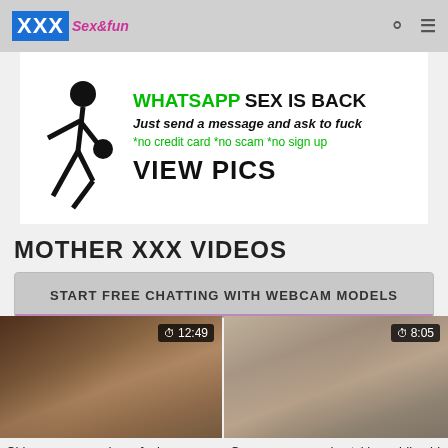XXX Sex&fun
[Figure (photo): Advertisement banner: WHATSAPP SEX IS BACK - Just send a message and ask to fuck - *no credit card *no scam *no sign up - VIEW PICS]
MOTHER XXX VIDEOS
START FREE CHATTING WITH WEBCAM MODELS
[Figure (photo): Video thumbnail - Chinese mom and son scene, duration 12:49]
Chinese mom and son fuck scene with hot orgasms
[Figure (photo): Video thumbnail - German mommy in stockings, duration 8:05]
German mommy in stckings riding his stiff penis